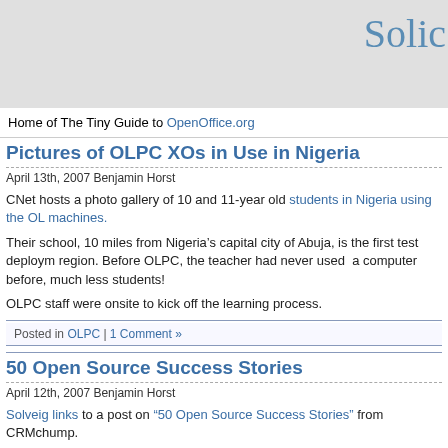Solic
Home of The Tiny Guide to OpenOffice.org
Pictures of OLPC XOs in Use in Nigeria
April 13th, 2007 Benjamin Horst
CNet hosts a photo gallery of 10 and 11-year old students in Nigeria using the OL machines.
Their school, 10 miles from Nigeria’s capital city of Abuja, is the first test deploym region. Before OLPC, the teacher had never used a computer before, much less students!
OLPC staff were onsite to kick off the learning process.
Posted in OLPC | 1 Comment »
50 Open Source Success Stories
April 12th, 2007 Benjamin Horst
Solveig links to a post on “50 Open Source Success Stories” from CRMchump.
Lots of talk about governments adopting open source tools, including SugarCRM Oregon Department of Human Services, Moodle at the Open University in Londo